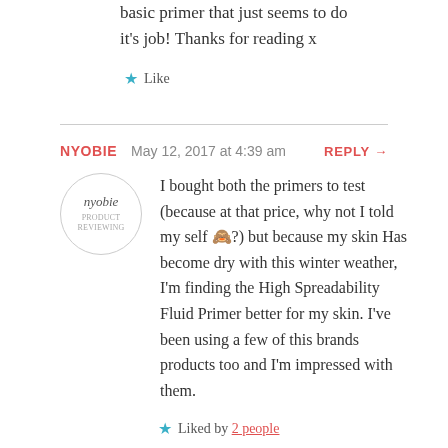basic primer that just seems to do it's job! Thanks for reading x
★ Like
NYOBIE   May 12, 2017 at 4:39 am   REPLY →
I bought both the primers to test (because at that price, why not I told my self 🙈?) but because my skin Has become dry with this winter weather, I'm finding the High Spreadability Fluid Primer better for my skin. I've been using a few of this brands products too and I'm impressed with them.
★ Liked by 2 people